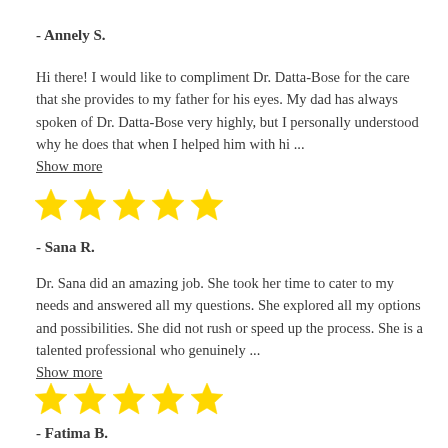- Annely S.
Hi there! I would like to compliment Dr. Datta-Bose for the care that she provides to my father for his eyes. My dad has always spoken of Dr. Datta-Bose very highly, but I personally understood why he does that when I helped him with hi ...
Show more
[Figure (other): Five gold stars rating]
- Sana R.
Dr. Sana did an amazing job. She took her time to cater to my needs and answered all my questions. She explored all my options and possibilities. She did not rush or speed up the process. She is a talented professional who genuinely ...
Show more
[Figure (other): Five gold stars rating]
- Fatima B.